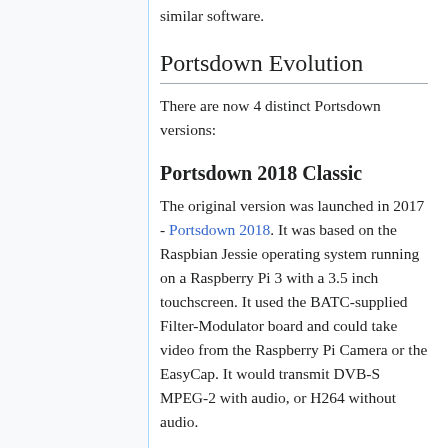similar software.
Portsdown Evolution
There are now 4 distinct Portsdown versions:
Portsdown 2018 Classic
The original version was launched in 2017 - Portsdown 2018. It was based on the Raspbian Jessie operating system running on a Raspberry Pi 3 with a 3.5 inch touchscreen. It used the BATC-supplied Filter-Modulator board and could take video from the Raspberry Pi Camera or the EasyCap. It would transmit DVB-S MPEG-2 with audio, or H264 without audio.
This version is no longer supported, although it will continue to work as built.